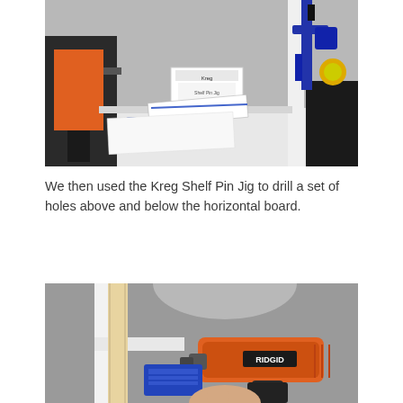[Figure (photo): Workshop shelf corner with an orange-black power drill on the left, a blue-yellow Irwin clamp clamping wooden boards on the right, a Kreg Shelf Pin Jig box and instruction booklet in the center on a white shelf, and a blue drill bit guide on a paper in the foreground.]
We then used the Kreg Shelf Pin Jig to drill a set of holes above and below the horizontal board.
[Figure (photo): Close-up of a white shelf corner with a wooden board and a RIDGID orange-black power drill being used to drill into the wood, with a blue Kreg jig accessory visible.]